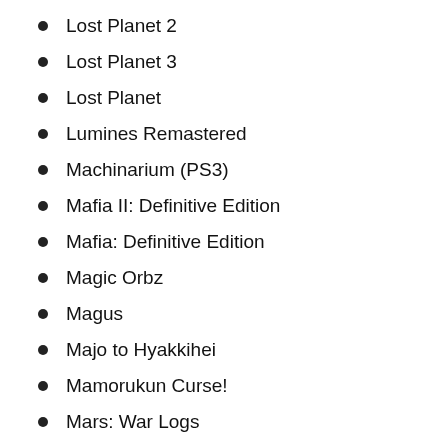Lost Planet 2
Lost Planet 3
Lost Planet
Lumines Remastered
Machinarium (PS3)
Mafia II: Definitive Edition
Mafia: Definitive Edition
Magic Orbz
Magus
Majo to Hyakkihei
Mamorukun Curse!
Mars: War Logs
Matt Hazard: Blood Bath and Beyond
MEGA MAN 10
MEGA MAN 9